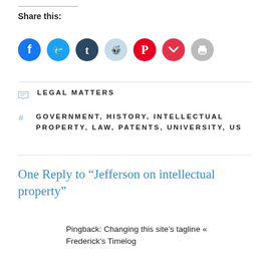Share this:
[Figure (infographic): Row of social share icon buttons: Facebook (blue), Twitter (light blue), Tumblr (dark navy), Reddit (pale blue), Pinterest (red), Pocket (red), Print (gray)]
LEGAL MATTERS
GOVERNMENT, HISTORY, INTELLECTUAL PROPERTY, LAW, PATENTS, UNIVERSITY, US
One Reply to “Jefferson on intellectual property”
Pingback: Changing this site’s tagline « Frederick’s Timelog